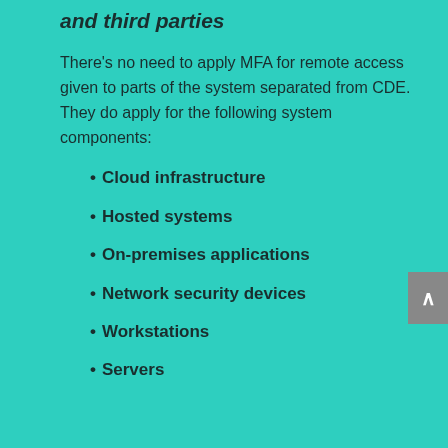and third parties
There’s no need to apply MFA for remote access given to parts of the system separated from CDE. They do apply for the following system components:
Cloud infrastructure
Hosted systems
On-premises applications
Network security devices
Workstations
Servers